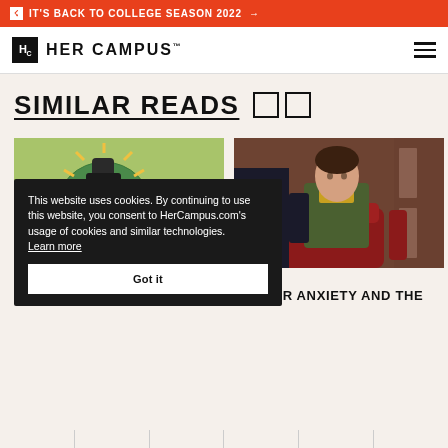IT'S BACK TO COLLEGE SEASON 2022 →
[Figure (logo): Her Campus logo with Hc box icon and wordmark]
SIMILAR READS
[Figure (photo): Protest image with sign reading WE NEED A CHANGE, person with fist raised]
[Figure (photo): Young woman sitting on red leather chair in office setting, wearing green cardigan and yellow shirt]
CAREER
CAREER ANXIETY AND THE
This website uses cookies. By continuing to use this website, you consent to HerCampus.com's usage of cookies and similar technologies. Learn more
Got it